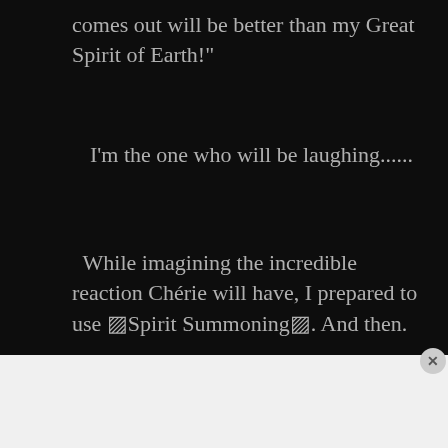comes out will be better than my Great Spirit of Earth!"
I'm the one who will be laughing......
While imagining the incredible reaction Chérie will have, I prepared to use ▨Spirit Summoning▨. And then.
[Figure (infographic): Advertisement banner for Macy's lipstick: 'KISS BORING LIPS GOODBYE' with SHOP NOW button and Macy's star logo on red background]
Advertisements